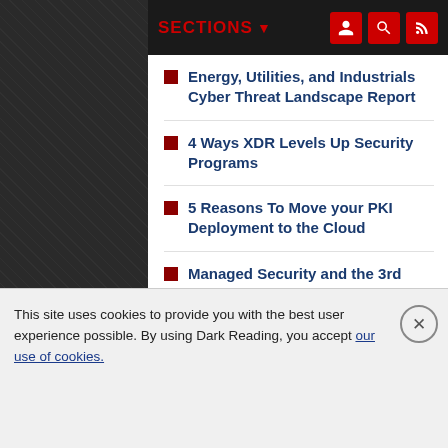SECTIONS
Energy, Utilities, and Industrials Cyber Threat Landscape Report
4 Ways XDR Levels Up Security Programs
5 Reasons To Move your PKI Deployment to the Cloud
Managed Security and the 3rd Party Cyber Risk Opportunity Whitepaper
MORE WHITE PAPERS
[Figure (screenshot): Tanium advertisement banner with dark red background. Logo shows a red circle with T and the word TANIUM. Headline reads: The average time to close a vulnerability is over 200 days. Tanium can do it in hours.]
This site uses cookies to provide you with the best user experience possible. By using Dark Reading, you accept our use of cookies.